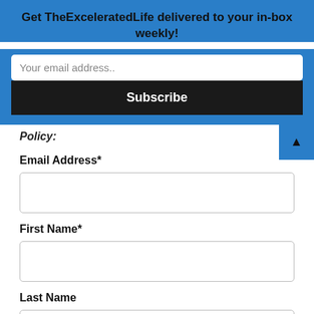Get TheExceleratedLife delivered to your in-box weekly!
Your email address..
Subscribe
Policy:
Email Address*
First Name*
Last Name
...del Add...